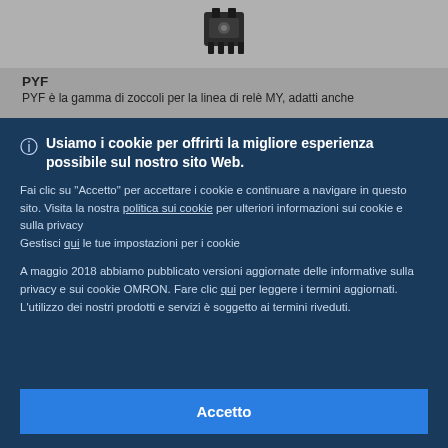[Figure (photo): Product photo of a relay/socket component (dark colored, small electromechanical device) on gray background]
PYF
PYF è la gamma di zoccoli per la linea di relè MY, adatti anche
Usiamo i cookie per offrirti la migliore esperienza possibile sul nostro sito Web.
Fai clic su "Accetto" per accettare i cookie e continuare a navigare in questo sito. Visita la nostra politica sui cookie per ulteriori informazioni sui cookie e sulla privacy
Gestisci qui le tue impostazioni per i cookie
A maggio 2018 abbiamo pubblicato versioni aggiornate delle informative sulla privacy e sui cookie OMRON. Fare clic qui per leggere i termini aggiornati. L'utilizzo dei nostri prodotti e servizi è soggetto ai termini riveduti.
Accetto